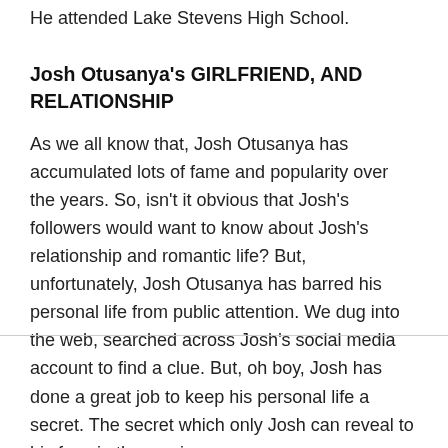He attended Lake Stevens High School.
Josh Otusanya's GIRLFRIEND, AND RELATIONSHIP
As we all know that, Josh Otusanya has accumulated lots of fame and popularity over the years. So, isn't it obvious that Josh's followers would want to know about Josh's relationship and romantic life? But, unfortunately, Josh Otusanya has barred his personal life from public attention. We dug into the web, searched across Josh's social media account to find a clue. But, oh boy, Josh has done a great job to keep his personal life a secret. The secret which only Josh can reveal to his fans in the coming